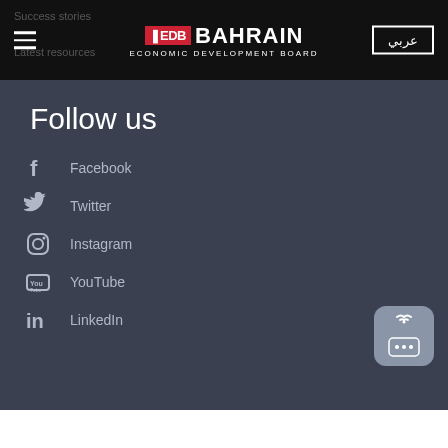EDB BAHRAIN - ECONOMIC DEVELOPMENT BOARD
Follow us
Facebook
Twitter
Instagram
YouTube
LinkedIn